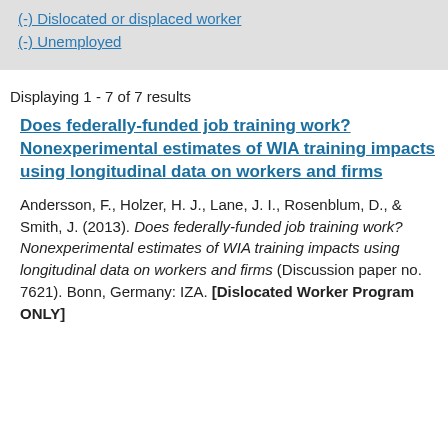(-) Dislocated or displaced worker
(-) Unemployed
Displaying 1 - 7 of 7 results
Does federally-funded job training work? Nonexperimental estimates of WIA training impacts using longitudinal data on workers and firms
Andersson, F., Holzer, H. J., Lane, J. I., Rosenblum, D., & Smith, J. (2013). Does federally-funded job training work? Nonexperimental estimates of WIA training impacts using longitudinal data on workers and firms (Discussion paper no. 7621). Bonn, Germany: IZA. [Dislocated Worker Program ONLY]